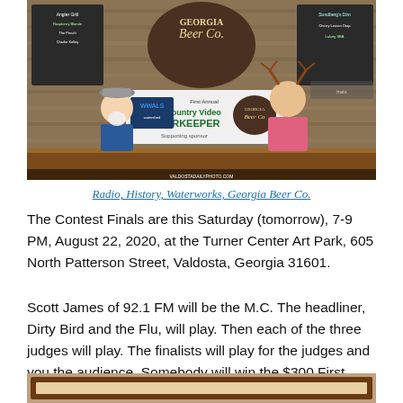[Figure (photo): Two men standing behind a bar counter at Georgia Beer Co. A banner about Riverkeeper is visible in the background, along with chalkboard menus on the wall.]
Radio, History, Waterworks, Georgia Beer Co.
The Contest Finals are this Saturday (tomorrow), 7-9 PM, August 22, 2020, at the Turner Center Art Park, 605 North Patterson Street, Valdosta, Georgia 31601.
Scott James of 92.1 FM will be the M.C. The headliner, Dirty Bird and the Flu, will play. Then each of the three judges will play. The finalists will play for the judges and you the audience. Somebody will win the $300 First Prize, and the other prizes.
[Figure (photo): Bottom portion of another photo, partially visible, showing what appears to be a framed item.]